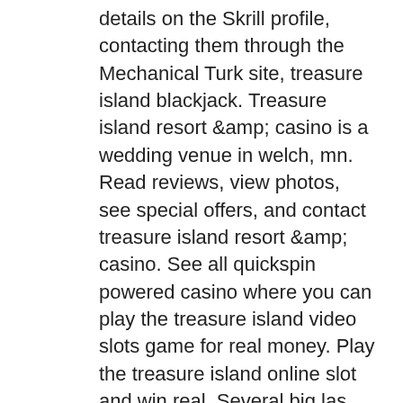details on the Skrill profile, contacting them through the Mechanical Turk site, treasure island blackjack. Treasure island resort &amp; casino is a wedding venue in welch, mn. Read reviews, view photos, see special offers, and contact treasure island resort &amp; casino. See all quickspin powered casino where you can play the treasure island video slots game for real money. Play the treasure island online slot and win real. Several big las vegas casinos opened up with an interest in attracting families, sort of gambling versions of disneyland, and treasure island. Treasure island casino - any games - only for our customers. Trial bids - because we are leaders. Book treasure island - ti hotel &amp; casino, a radisson hotel &amp; save big on your next stay! compare reviews, photos, &amp; availability w/ travelocity. Lizzo returned to minnesota with a live performance at treasure island resort &amp; casino amphitheater on